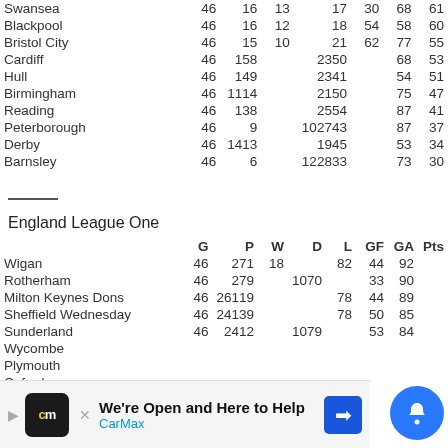| Team | G | P | W | D | L | GF | GA | Pts |
| --- | --- | --- | --- | --- | --- | --- | --- | --- |
| Swansea | 46 | 16 | 13 | 17 | 30 | 68 | 61 |  |
| Blackpool | 46 | 16 | 12 | 18 | 54 | 58 | 60 |  |
| Bristol City | 46 | 15 | 10 | 21 | 62 | 77 | 55 |  |
| Cardiff | 46 | 158 | 23 | 50 | 68 | 53 |  |  |
| Hull | 46 | 149 | 23 | 41 | 54 | 51 |  |  |
| Birmingham | 46 | 111 | 42 | 150 | 75 | 47 |  |  |
| Reading | 46 | 138 | 25 | 54 | 87 | 41 |  |  |
| Peterborough | 46 | 9 | 10 | 27 | 43 | 87 | 37 |  |
| Derby | 46 | 141 | 31 | 94 | 5 | 53 | 34 |  |
| Barnsley | 46 | 6 | 12 | 28 | 33 | 73 | 30 |  |
England League One
| Team | G | P | W | D | L | GF | GA | Pts |
| --- | --- | --- | --- | --- | --- | --- | --- | --- |
| Wigan | 46 | 271 | 18 | 82 | 44 | 92 |  |  |
| Rotherham | 46 | 279 | 10 | 70 | 33 | 90 |  |  |
| Milton Keynes Dons | 46 | 261 | 19 | 78 | 44 | 89 |  |  |
| Sheffield Wednesday | 46 | 241 | 39 | 78 | 50 | 85 |  |  |
| Sunderland | 46 | 241 | 21 | 07 | 9 | 53 | 84 |  |
| Wycombe |  |  |  |  |  |  |  |  |
| Plymouth |  |  |  |  |  |  |  |  |
| Oxford |  |  |  |  |  |  |  |  |